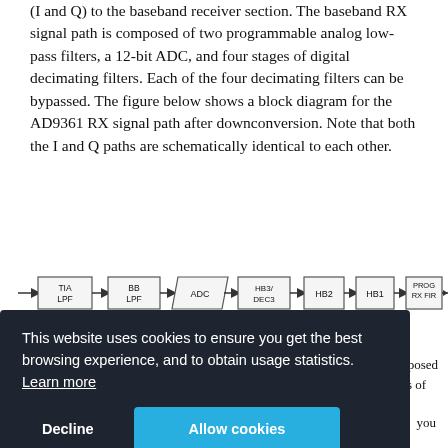(I and Q) to the baseband receiver section. The baseband RX signal path is composed of two programmable analog low-pass filters, a 12-bit ADC, and four stages of digital decimating filters. Each of the four decimating filters can be bypassed. The figure below shows a block diagram for the AD9361 RX signal path after downconversion. Note that both the I and Q paths are schematically identical to each other.
[Figure (engineering-diagram): Block diagram showing AD9361 RX signal path: arrow -> TIA LPF -> BB LPF -> ADC (parallelogram shape) -> HB3/DEC3 -> HB2 -> HB1 -> PROG RX FIR -> arrow]
This website uses cookies to ensure you get the best browsing experience, and to obtain usage statistics. Learn more [Decline] [Allow cookies]
installing the required software dependencies.